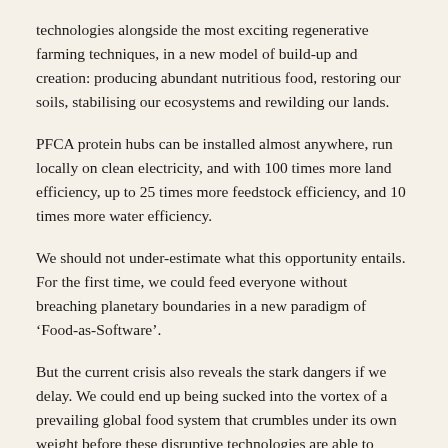technologies alongside the most exciting regenerative farming techniques, in a new model of build-up and creation: producing abundant nutritious food, restoring our soils, stabilising our ecosystems and rewilding our lands.
PFCA protein hubs can be installed almost anywhere, run locally on clean electricity, and with 100 times more land efficiency, up to 25 times more feedstock efficiency, and 10 times more water efficiency.
We should not under-estimate what this opportunity entails. For the first time, we could feed everyone without breaching planetary boundaries in a new paradigm of ‘Food-as-Software’.
But the current crisis also reveals the stark dangers if we delay. We could end up being sucked into the vortex of a prevailing global food system that crumbles under its own weight before these disruptive technologies are able to accelerate the transformation we so desperately need.